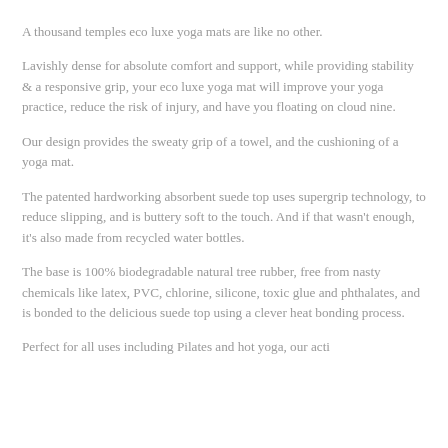A thousand temples eco luxe yoga mats are like no other.
Lavishly dense for absolute comfort and support, while providing stability & a responsive grip, your eco luxe yoga mat will improve your yoga practice, reduce the risk of injury, and have you floating on cloud nine.
Our design provides the sweaty grip of a towel, and the cushioning of a yoga mat.
The patented hardworking absorbent suede top uses supergrip technology, to reduce slipping, and is buttery soft to the touch. And if that wasn't enough, it's also made from recycled water bottles.
The base is 100% biodegradable natural tree rubber, free from nasty chemicals like latex, PVC, chlorine, silicone, toxic glue and phthalates, and is bonded to the delicious suede top using a clever heat bonding process.
Perfect for all uses including Pilates and hot yoga, our active...